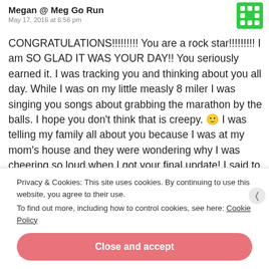Megan @ Meg Go Run
May 17, 2016 at 6:56 pm
CONGRATULATIONS!!!!!!!!! You are a rock star!!!!!!!!! I am SO GLAD IT WAS YOUR DAY!! You seriously earned it. I was tracking you and thinking about you all day. While I was on my little measly 8 miler I was singing you songs about grabbing the marathon by the balls. I hope you don't think that is creepy. 🙂 I was telling my family all about you because I was at my mom's house and they were wondering why I was cheering so loud when I got your final update! I said to my mom, "She is in DENVER! I wonder how long it would take
Privacy & Cookies: This site uses cookies. By continuing to use this website, you agree to their use.
To find out more, including how to control cookies, see here: Cookie Policy
Close and accept